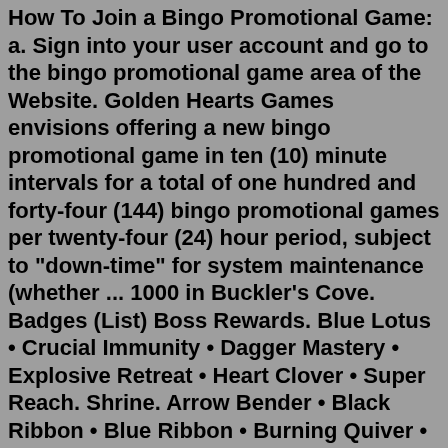How To Join a Bingo Promotional Game: a. Sign into your user account and go to the bingo promotional game area of the Website. Golden Hearts Games envisions offering a new bingo promotional game in ten (10) minute intervals for a total of one hundred and forty-four (144) bingo promotional games per twenty-four (24) hour period, subject to "down-time" for system maintenance (whether ... 1000 in Buckler's Cove. Badges (List) Boss Rewards. Blue Lotus • Crucial Immunity • Dagger Mastery • Explosive Retreat • Heart Clover • Super Reach. Shrine. Arrow Bender • Black Ribbon • Blue Ribbon • Burning Quiver • Crystal Specs • Disarming Dash • Elemental Enchanter • Fortified Soul • Paladin's Light • Razor ... Compare/contrast with Jerkass (which is a Super-Trope to this), Hidden Heart of Gold, Bitch in Sheep's Clothing, Noble Demon, Bruiser with a Soft Center, Hero with an F in Good, Innocently Insensitive, Aw, Look! They Really Do Love Each Other, Sour Outside, Sad Inside, and Hitman with a Heart.Sometimes subverted as Jerk with a Heart of